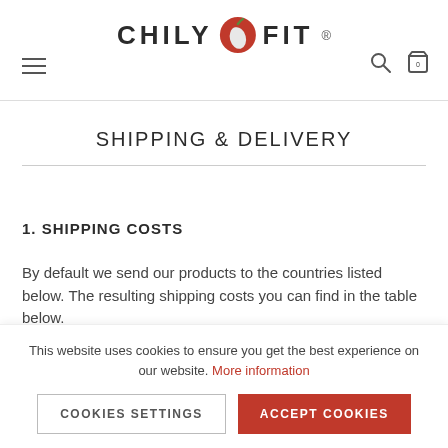CHILY FIT ®
SHIPPING & DELIVERY
1. SHIPPING COSTS
By default we send our products to the countries listed below. The resulting shipping costs you can find in the table below.
| SHIPPING COUNTRY | SHIPPING |
| --- | --- |
This website uses cookies to ensure you get the best experience on our website. More information
COOKIES SETTINGS   ACCEPT COOKIES